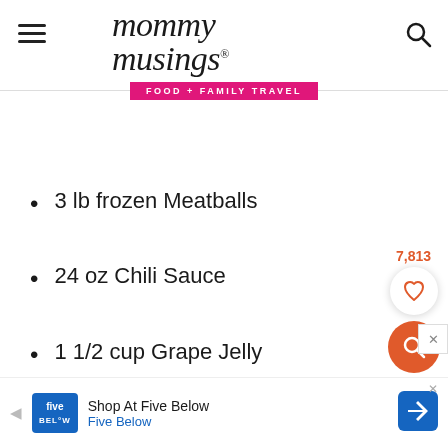mommy musings FOOD + FAMILY TRAVEL
3 lb frozen Meatballs
24 oz Chili Sauce
1 1/2 cup Grape Jelly
2 tbsp Worcestershire Sauce,
[Figure (infographic): Social share widget showing 7,813 saves with heart icon and orange search button, plus close X button]
[Figure (infographic): Advertisement banner: Five Below - Shop At Five Below, Five Below with blue logo and orange direction sign icon]